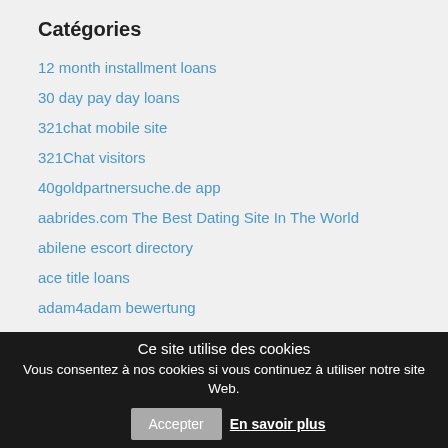Catégories
12 month installment loans
30 day pay day loans
321chat mobile site
321Chat visitors
40goldpartnersuche.de app
aabrides.com The Best Dating Site In The World
abilene escort directory
ace title loans
adam4adam bewertung
adam4adam gratuit
Adult dating sites app
adult escort
Ce site utilise des cookies
Vous consentez à nos cookies si vous continuez à utiliser notre site Web.
Accepter
En savoir plus